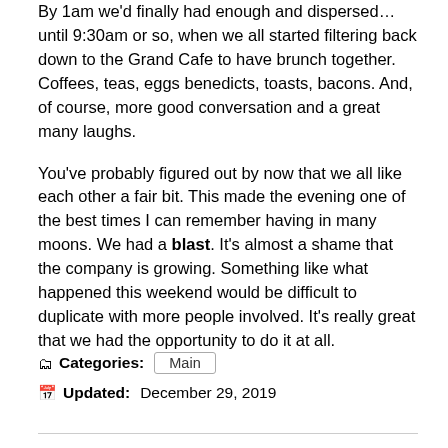By 1am we'd finally had enough and dispersed…until 9:30am or so, when we all started filtering back down to the Grand Cafe to have brunch together. Coffees, teas, eggs benedicts, toasts, bacons. And, of course, more good conversation and a great many laughs.
You've probably figured out by now that we all like each other a fair bit. This made the evening one of the best times I can remember having in many moons. We had a blast. It's almost a shame that the company is growing. Something like what happened this weekend would be difficult to duplicate with more people involved. It's really great that we had the opportunity to do it at all.
Categories: Main
Updated: December 29, 2019